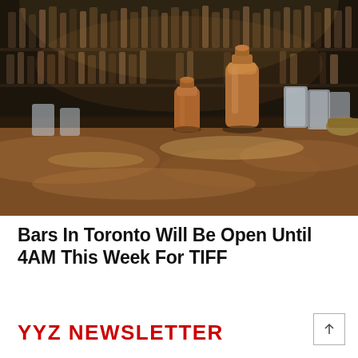[Figure (photo): Bar counter with copper cocktail shakers and glassware on a marble surface, with backlit shelves of liquor bottles in the background]
Bars In Toronto Will Be Open Until 4AM This Week For TIFF
YYZ NEWSLETTER